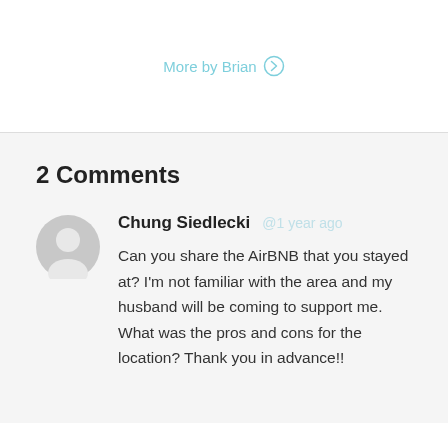More by Brian ⊙
2 Comments
Chung Siedlecki
Can you share the AirBNB that you stayed at? I'm not familiar with the area and my husband will be coming to support me. What was the pros and cons for the location? Thank you in advance!!